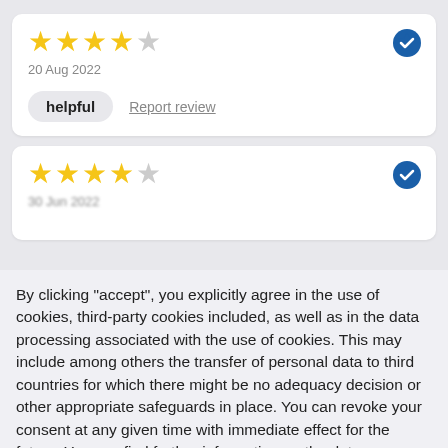[Figure (other): Review card with 4 out of 5 stars rating and a blue verified badge]
20 Aug 2022
helpful   Report review
[Figure (other): Second review card with 4 out of 5 stars rating and a blue verified badge, partially visible]
By clicking "accept", you explicitly agree in the use of cookies, third-party cookies included, as well as in the data processing associated with the use of cookies. This may include among others the transfer of personal data to third countries for which there might be no adequacy decision or other appropriate safeguards in place. You can revoke your consent at any given time with immediate effect for the future. You can find further information on the data processing purposes, opt-out options, your rights, and the risks of data transfers to third countries here.
ACCEPT